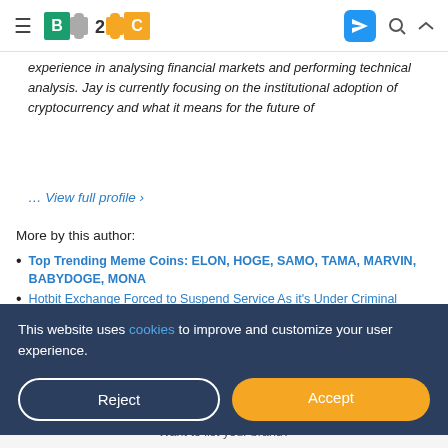B2C — Business 2 Community
experience in analysing financial markets and performing technical analysis. Jay is currently focusing on the institutional adoption of cryptocurrency and what it means for the future of
… View full profile ›
More by this author:
Top Trending Meme Coins: ELON, HOGE, SAMO, TAMA, MARVIN, BABYDOGE, MONA
Hotbit Exchange Forced to Suspend Service As it's Under Criminal
This website uses cookies to improve and customize your user experience.
Reject
Accept
Want to list your brand?